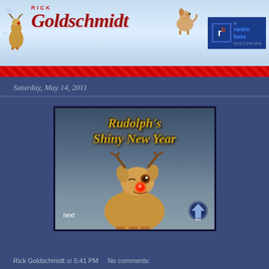Rick Goldschmidt — A Rankin Bass Historian
Saturday, May 14, 2011
[Figure (screenshot): Screenshot of Rudolph's Shiny New Year animated special title card showing Rudolph the red-nosed reindeer with glowing red nose, with 'next' text and ABC 7 logo overlay]
Rick Goldschmidt at 5:41 PM    No comments: